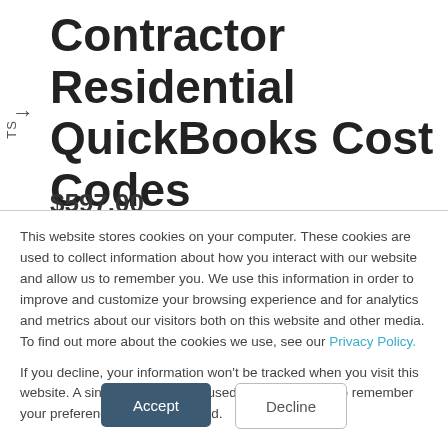Contractor Residential QuickBooks Cost Codes Item List Desktop Version Bundle
$597.00
This website stores cookies on your computer. These cookies are used to collect information about how you interact with our website and allow us to remember you. We use this information in order to improve and customize your browsing experience and for analytics and metrics about our visitors both on this website and other media. To find out more about the cookies we use, see our Privacy Policy.
If you decline, your information won't be tracked when you visit this website. A single cookie will be used in your browser to remember your preference not to be tracked.